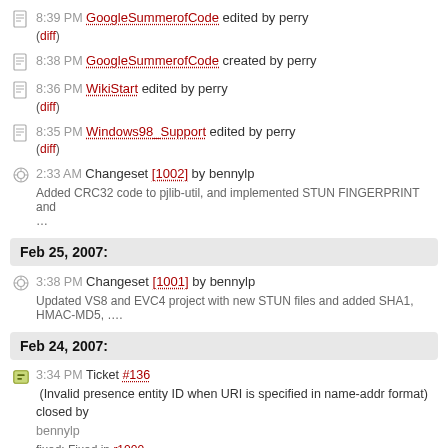8:39 PM GoogleSummerofCode edited by perry (diff)
8:38 PM GoogleSummerofCode created by perry
8:36 PM WikiStart edited by perry (diff)
8:35 PM Windows98_Support edited by perry (diff)
2:33 AM Changeset [1002] by bennylp
Added CRC32 code to pjlib-util, and implemented STUN FINGERPRINT and ...
Feb 25, 2007:
3:38 PM Changeset [1001] by bennylp
Updated VS8 and EVC4 project with new STUN files and added SHA1, HMAC-MD5, ....
Feb 24, 2007:
3:34 PM Ticket #136 (Invalid presence entity ID when URI is specified in name-addr format) closed by bennylp
fixed: Fixed in r1000.